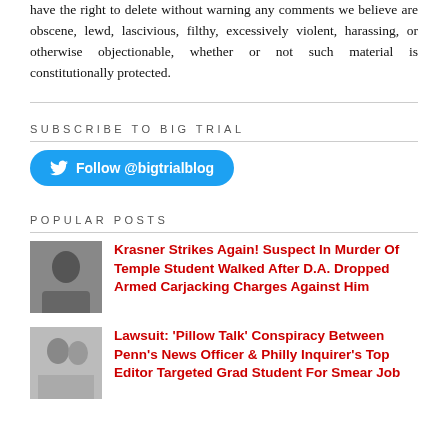have the right to delete without warning any comments we believe are obscene, lewd, lascivious, filthy, excessively violent, harassing, or otherwise objectionable, whether or not such material is constitutionally protected.
SUBSCRIBE TO BIG TRIAL
[Figure (other): Twitter Follow button: Follow @bigtrialblog]
POPULAR POSTS
[Figure (photo): Thumbnail photo of suspect (man)]
Krasner Strikes Again! Suspect In Murder Of Temple Student Walked After D.A. Dropped Armed Carjacking Charges Against Him
[Figure (photo): Thumbnail photo (black and white, two people)]
Lawsuit: 'Pillow Talk' Conspiracy Between Penn's News Officer & Philly Inquirer's Top Editor Targeted Grad Student For Smear Job